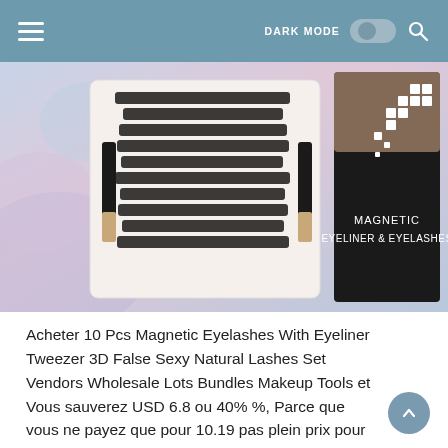DARK MODE [toggle] [search]
[Figure (photo): Product photo showing a set of 10 pairs of magnetic false eyelashes with two eyeliner bottles (brown/gold caps) arranged in a white tray on the left side, and a black product box labeled 'MAGNETIC EYELINER & EYELASHES' with a decorative white dot/square pattern on the right side. Background has a colorful swirled pastel effect.]
Acheter 10 Pcs Magnetic Eyelashes With Eyeliner Tweezer 3D False Sexy Natural Lashes Set Vendors Wholesale Lots Bundles Makeup Tools et Vous sauverez USD 6.8 ou 40% %, Parce que vous ne payez que pour 10.19 pas plein prix pour 16.99